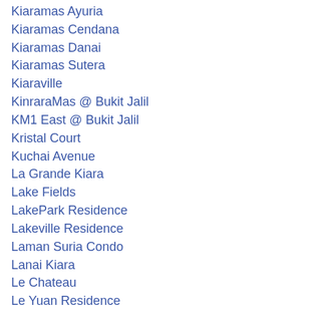Kiaramas Ayuria
Kiaramas Cendana
Kiaramas Danai
Kiaramas Sutera
Kiaraville
KinraraMas @ Bukit Jalil
KM1 East @ Bukit Jalil
Kristal Court
Kuchai Avenue
La Grande Kiara
Lake Fields
LakePark Residence
Lakeville Residence
Laman Suria Condo
Lanai Kiara
Le Chateau
Le Yuan Residence
Lexa Residence
LGT Green
Lidcol Gardens
Lido Residency
Lot 1 (KL Sentral)